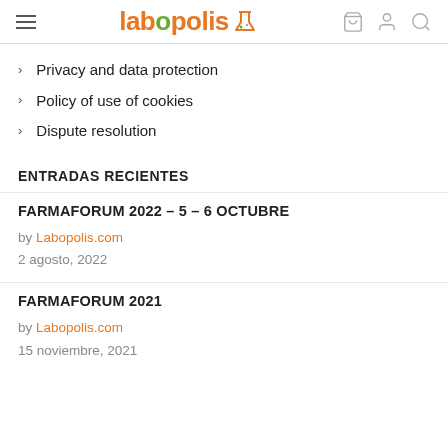labopolis [logo]
Privacy and data protection
Policy of use of cookies
Dispute resolution
ENTRADAS RECIENTES
FARMAFORUM 2022 – 5 – 6 OCTUBRE
by Labopolis.com
2 agosto, 2022
FARMAFORUM 2021
by Labopolis.com
15 noviembre, 2021